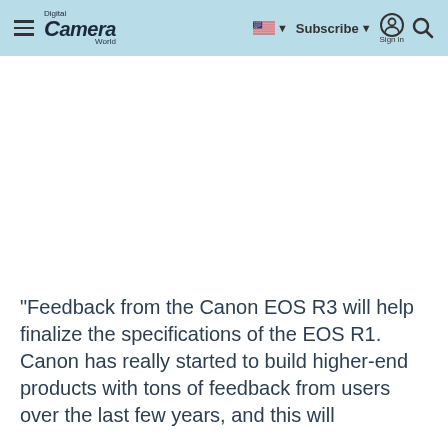Digital Camera World — Subscribe | Sign in | Search
"Feedback from the Canon EOS R3 will help finalize the specifications of the EOS R1. Canon has really started to build higher-end products with tons of feedback from users over the last few years, and this will